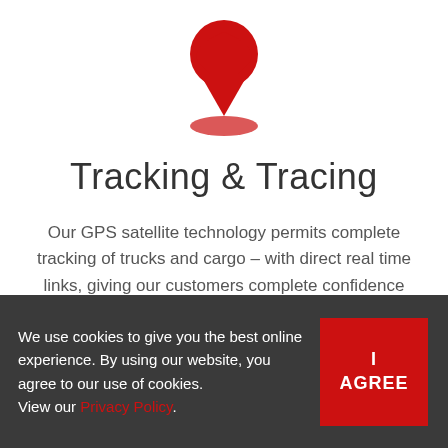[Figure (illustration): Red map pin / location marker icon with a circular shadow below it, on white background]
Tracking & Tracing
Our GPS satellite technology permits complete tracking of trucks and cargo – with direct real time links, giving our customers complete confidence that their goods will be delivered safely and securely in a timely manner.
We use cookies to give you the best online experience. By using our website, you agree to our use of cookies. View our Privacy Policy.